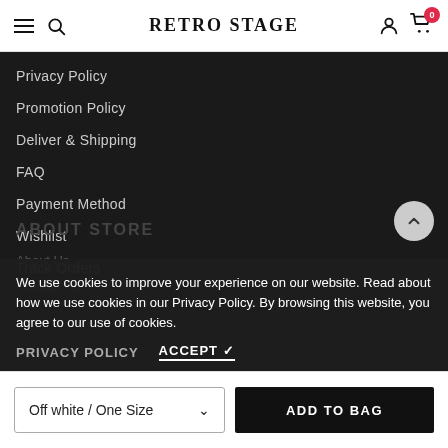RETRO STAGE
Privacy Policy
Promotion Policy
Deliver & Shipping
FAQ
Payment Method
Wishlist
Track Orders
ABOUT STORE
About Us
Contact Us
We use cookies to improve your experience on our website. Read about how we use cookies in our Privacy Policy. By browsing this website, you agree to our use of cookies.
PRIVACY POLICY    ACCEPT ✓
Off white / One Size    ADD TO BAG